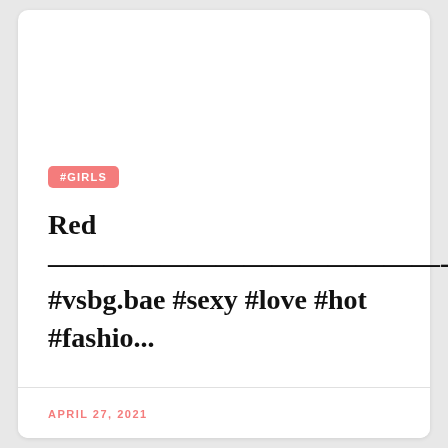#GIRLS
Red ——————————————-
#vsbg.bae #sexy #love #hot #fashio...
APRIL 27, 2021